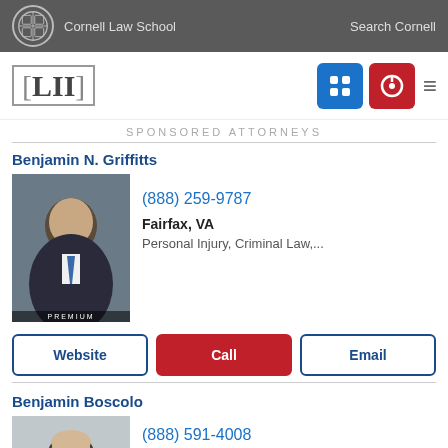Cornell Law School | Search Cornell
[Figure (logo): LII Legal Information Institute logo with Cornell branding]
SPONSORED ATTORNEYS
Benjamin N. Griffitts
[Figure (photo): Professional headshot of Benjamin N. Griffitts, male attorney in suit with blue tie, PREMIUM label]
(888) 259-9787
Fairfax, VA
Personal Injury, Criminal Law,...
Website | Call | Email
Benjamin Boscolo
[Figure (photo): Professional headshot of Benjamin Boscolo, male attorney in suit with red tie]
(888) 591-4008
Falls Church, VA, VA
Personal Injury, Workers' Co...